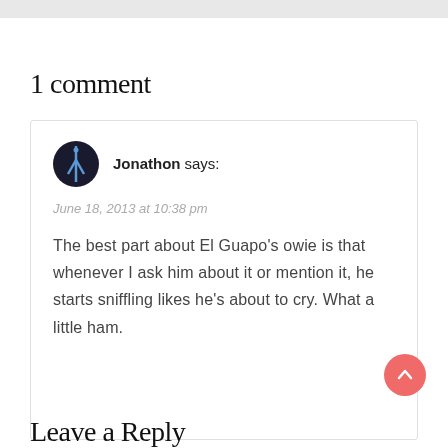1 comment
Jonathon says:
June 18, 2013 at 10:38 pm

The best part about El Guapo’s owie is that whenever I ask him about it or mention it, he starts sniffling likes he’s about to cry. What a little ham.
Leave a Reply